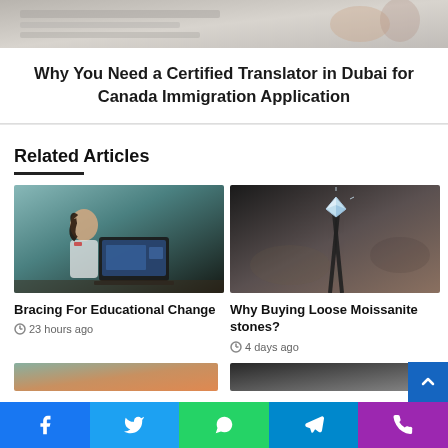[Figure (photo): Top partial photo showing a desk scene with papers and hands, cropped]
Why You Need a Certified Translator in Dubai for Canada Immigration Application
Related Articles
[Figure (photo): Girl in white and red school uniform sitting at a laptop looking at screen]
Bracing For Educational Change
23 hours ago
[Figure (photo): A diamond gemstone held by tweezers against a blurred background]
Why Buying Loose Moissanite stones?
4 days ago
[Figure (photo): Partial bottom images of two more article thumbnails, cropped]
Facebook Twitter WhatsApp Telegram Phone social sharing bar